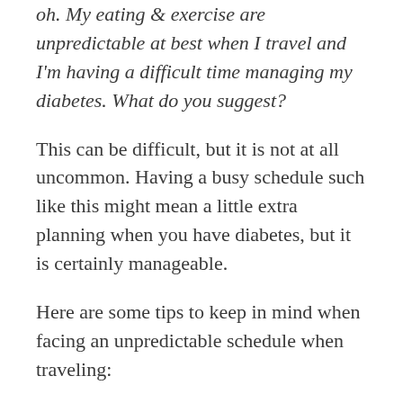oh. My eating & exercise are unpredictable at best when I travel and I'm having a difficult time managing my diabetes. What do you suggest?
This can be difficult, but it is not at all uncommon. Having a busy schedule such like this might mean a little extra planning when you have diabetes, but it is certainly manageable.
Here are some tips to keep in mind when facing an unpredictable schedule when traveling: